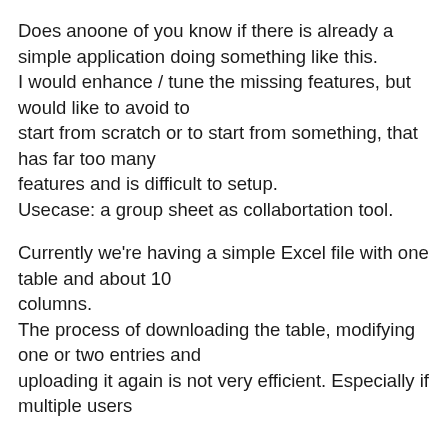Does anoone of you know if there is already a simple application doing something like this.
I would enhance / tune the missing features, but would like to avoid to start from scratch or to start from something, that has far too many features and is difficult to setup.
Usecase: a group sheet as collabortation tool.
Currently we're having a simple Excel file with one table and about 10 columns.
The process of downloading the table, modifying one or two entries and uploading it again is not very efficient. Especially if multiple users